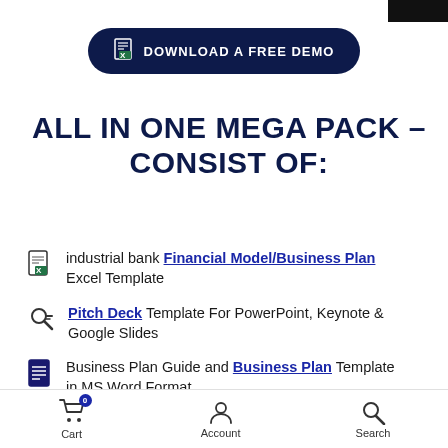[Figure (other): Download a Free Demo button with Excel icon, dark navy rounded button]
ALL IN ONE MEGA PACK – CONSIST OF:
industrial bank Financial Model/Business Plan Excel Template
Pitch Deck Template For PowerPoint, Keynote & Google Slides
Business Plan Guide and Business Plan Template in MS Word Format
Cart 0  Account  Search